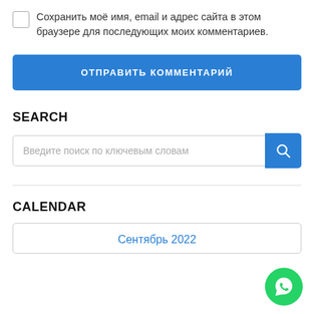Сохранить моё имя, email и адрес сайта в этом браузере для последующих моих комментариев.
ОТПРАВИТЬ КОММЕНТАРИЙ
SEARCH
Введите поиск по ключевым словам
CALENDAR
Сентябрь 2022